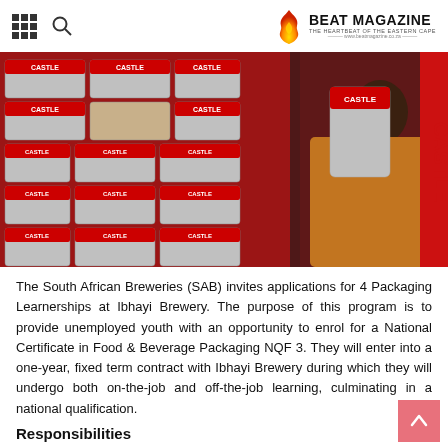Beat Magazine – The Heartbeat of the Eastern Cape – www.beatmagazine.co.za
[Figure (photo): A man in an orange vest holding a Castle beer can, surrounded by stacked Castle beer cans on a display rack. Red and white Castle Lager branding visible throughout.]
The South African Breweries (SAB) invites applications for 4 Packaging Learnerships at Ibhayi Brewery. The purpose of this program is to provide unemployed youth with an opportunity to enrol for a National Certificate in Food & Beverage Packaging NQF 3. They will enter into a one-year, fixed term contract with Ibhayi Brewery during which they will undergo both on-the-job and off-the-job learning, culminating in a national qualification.
Responsibilities